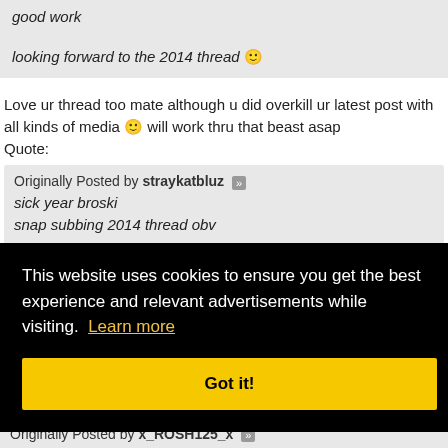good work
looking forward to the 2014 thread 🙂
Love ur thread too mate although u did overkill ur latest post with all kinds of media 🙂 will work thru that beast asap
Quote:
Originally Posted by straykatbluz
sick year broski
snap subbing 2014 thread obv
Thx man snap subbing yours right back! #bowlcompgrinders #FTBridesmaids
This website uses cookies to ensure you get the best experience and relevant advertisements while visiting. Learn more
Got it!
Originally Posted by x_ROSH125_x